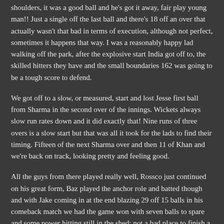shoulders, it was a good ball and he's got it away, fair play young man!! Just a single off the last ball and there's 18 off an over that actually wasn't that bad in terms of execution, although not perfect, sometimes it happens that way. I was a reasonably happy lad walking off the park, after the explosive start India got off to, the skilled hitters they have and the small boundaries 162 was going to be a tough score to defend.
We got off to a slow, or measured, start and lost Jesse first ball from Sharma in the second over of the innings. Wickets always slow run rates down and it did exactly that! Nine runs of three overs is a slow start but that was all it took for the lads to find their timing. Fifteen of the next Sharma over and then 11 of Khan and we're back on track, looking pretty and feeling good.
All the guys from there played really well, Rossco just continued on his great form, Baz played the anchor role and batted though and with Jake coming in at the end blazing 29 off 15 balls in his comeback match we had the game won with seven balls to spare and some power hitting still in the shed; not a bad place to finish a game! A very happy changing room, we didn't have the luxury of being